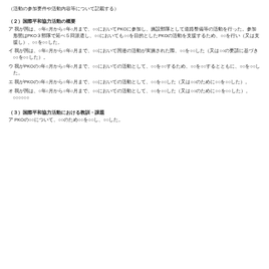（活動の参加要件や活動内容等について記載する）
（２）国際平和協力活動の概要
ア 我が国は、○年○月から○年○月まで、○○においてPKOに参加し、施設部隊として道路整備等の活動を行った。参加形態はPKO3部隊で延べ5回派遣し、○○においても○○を目的としたPKOの活動を支援するため、○○を行い（又は支援し）、○○を○○した。
イ 我が国は、○年○月から○年○月まで、○○において国連の活動が実施された際、○○を○○した（又は○○の要請に基づき○○を○○した）。
ウ 我がPKOの○年○月から○年○月まで、○○においての活動として、○○を○○するため、○○を○○するとともに、○○を○○した。
エ 我がPKOの○年○月から○年○月まで、○○においての活動として、○○を○○した（又は○○のために○○を○○した）。
オ 我が国は、○年○月から○年○月まで、○○においての活動として、○○を○○した（又は○○のために○○を○○した）。○○○○○○
（３）国際平和協力活動における教訓・課題
ア PKOの○○について、○○のため○○を○○し、○○した。